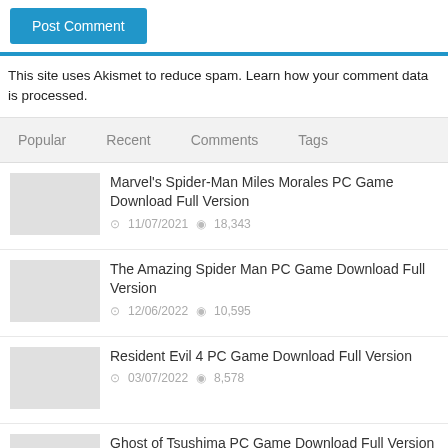Post Comment (button)
This site uses Akismet to reduce spam. Learn how your comment data is processed.
Popular  Recent  Comments  Tags
Marvel's Spider-Man Miles Morales PC Game Download Full Version
11/07/2021  18,343
The Amazing Spider Man PC Game Download Full Version
12/06/2022  10,595
Resident Evil 4 PC Game Download Full Version
03/07/2022  8,578
Ghost of Tsushima PC Game Download Full Version